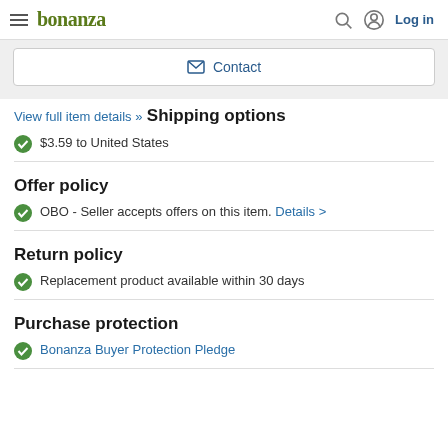bonanza  Log in
Contact
View full item details »
Shipping options
$3.59 to United States
Offer policy
OBO - Seller accepts offers on this item. Details >
Return policy
Replacement product available within 30 days
Purchase protection
Bonanza Buyer Protection Pledge